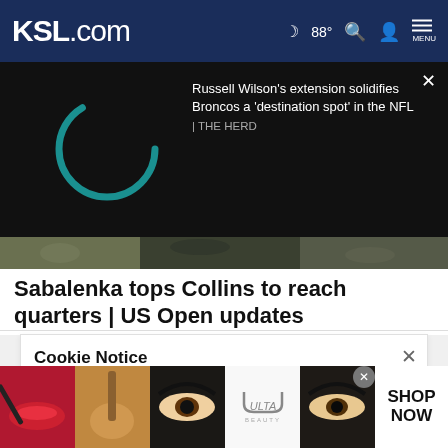KSL.com  ☾ 88° 🔍 👤 MENU
[Figure (screenshot): Video thumbnail area with spinner loading indicator on dark background and text: Russell Wilson's extension solidifies Broncos a 'destination spot' in the NFL | THE HERD]
[Figure (photo): Partial article header image showing tennis match or sports scene]
Sabalenka tops Collins to reach quarters | US Open updates
Cookie Notice
We use cookies to improve your experience, analyze site traffic, and to personalize content and ads. By continuing to use our site, you consent to our use of cookies. Please visit our Terms of Use and  Privacy Policy for more information
[Figure (photo): Ulta Beauty advertisement banner showing makeup images with SHOP NOW button]